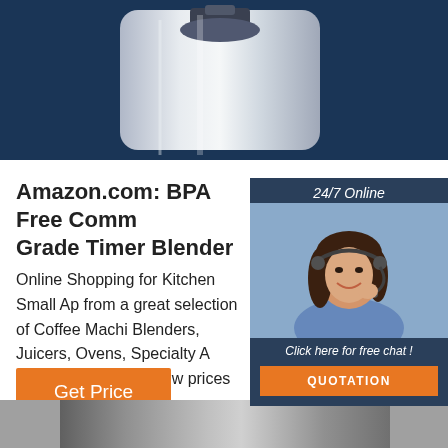[Figure (photo): Top banner area with dark navy blue background showing partial view of a blender appliance in silver/chrome finish]
[Figure (infographic): Customer service chat widget on dark navy background showing '24/7 Online', a woman with headset smiling, 'Click here for free chat!' text, and an orange QUOTATION button]
Amazon.com: BPA Free Comm Grade Timer Blender
Online Shopping for Kitchen Small Ap from a great selection of Coffee Machi Blenders, Juicers, Ovens, Specialty A & more at everyday low prices
[Figure (infographic): Orange 'Get Price' button]
[Figure (logo): Orange 'TOP' logo with dots arranged in triangle above the letters]
[Figure (photo): Bottom partial image showing a gray/silver blender base]